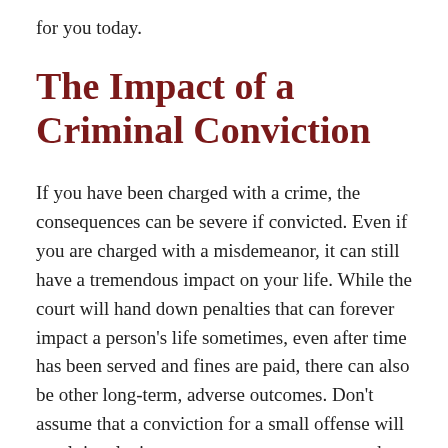for you today.
The Impact of a Criminal Conviction
If you have been charged with a crime, the consequences can be severe if convicted. Even if you are charged with a misdemeanor, it can still have a tremendous impact on your life. While the court will hand down penalties that can forever impact a person's life sometimes, even after time has been served and fines are paid, there can also be other long-term, adverse outcomes. Don't assume that a conviction for a small offense will result in a lenient sentence or consequences that won't affect you in significant ways. Even if you are convicted for a minor offense, you may experience